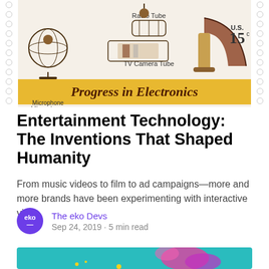[Figure (photo): US postage stamp showing 'Progress in Electronics' with illustrations of a Microphone, Radio Tube, TV Camera Tube, and a gramophone horn, denomination 15 cents, yellow banner at bottom reading 'Progress in Electronics']
Entertainment Technology: The Inventions That Shaped Humanity
From music videos to film to ad campaigns—more and more brands have been experimenting with interactive video.
The eko Devs
Sep 24, 2019 · 5 min read
[Figure (photo): Colorful teal background with abstract pink/magenta figure shapes, partial view of a second article image]